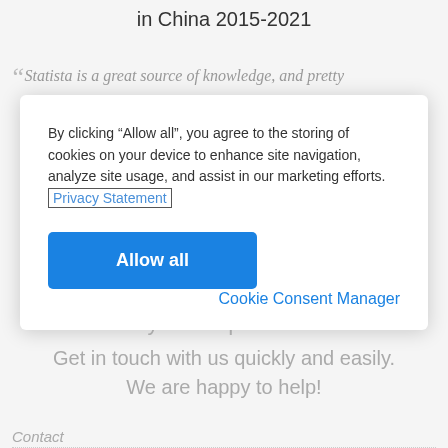in China 2015-2021
Statista is a great source of knowledge, and pretty
By clicking “Allow all”, you agree to the storing of cookies on your device to enhance site navigation, analyze site usage, and assist in our marketing efforts. Privacy Statement
Allow all
Cookie Consent Manager
Any more questions?
Get in touch with us quickly and easily.
We are happy to help!
Contact